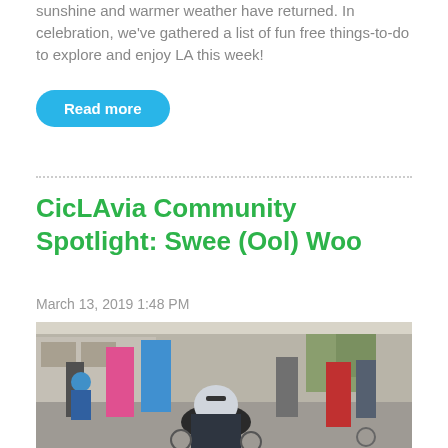sunshine and warmer weather have returned. In celebration, we've gathered a list of fun free things-to-do to explore and enjoy LA this week!
Read more
CicLAvia Community Spotlight: Swee (Ool) Woo
March 13, 2019 1:48 PM
[Figure (photo): Outdoor street scene with people on bicycles and pedestrians, some wearing helmets and colorful clothing. Urban setting with trees and buildings in background.]